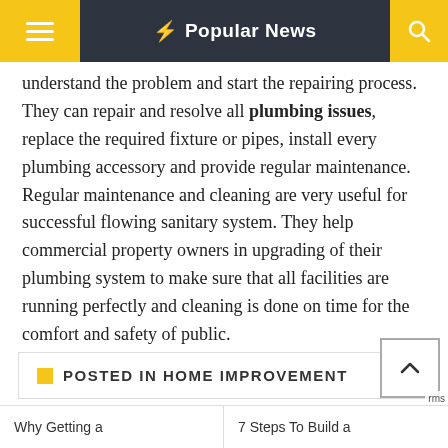Popular News
understand the problem and start the repairing process. They can repair and resolve all plumbing issues, replace the required fixture or pipes, install every plumbing accessory and provide regular maintenance. Regular maintenance and cleaning are very useful for successful flowing sanitary system. They help commercial property owners in upgrading of their plumbing system to make sure that all facilities are running perfectly and cleaning is done on time for the comfort and safety of public.
POSTED IN HOME IMPROVEMENT
Why Getting a
7 Steps To Build a